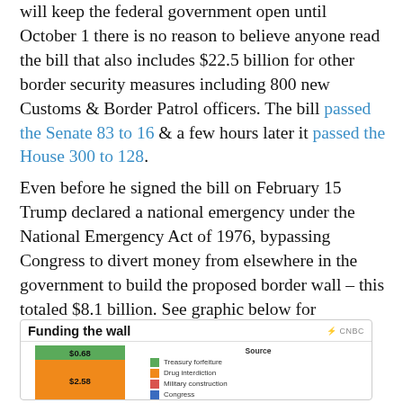will keep the federal government open until October 1 there is no reason to believe anyone read the bill that also includes $22.5 billion for other border security measures including 800 new Customs & Border Patrol officers. The bill passed the Senate 83 to 16 & a few hours later it passed the House 300 to 128.
Even before he signed the bill on February 15 Trump declared a national emergency under the National Emergency Act of 1976, bypassing Congress to divert money from elsewhere in the government to build the proposed border wall – this totaled $8.1 billion. See graphic below for breakdown of these redirected funds (includes the $1.4 billion approved by Congress).
[Figure (stacked-bar-chart): Funding the wall]